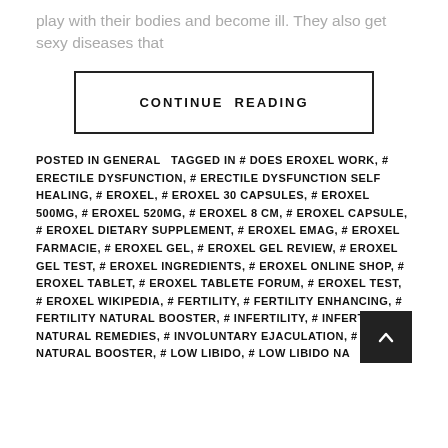play with their bodies and become ill. They also get sexy diseases that
CONTINUE READING
POSTED IN GENERAL   TAGGED IN # DOES EROXEL WORK, # ERECTILE DYSFUNCTION, # ERECTILE DYSFUNCTION SELF HEALING, # EROXEL, # EROXEL 30 CAPSULES, # EROXEL 500MG, # EROXEL 520MG, # EROXEL 8 CM, # EROXEL CAPSULE, # EROXEL DIETARY SUPPLEMENT, # EROXEL EMAG, # EROXEL FARMACIE, # EROXEL GEL, # EROXEL GEL REVIEW, # EROXEL GEL TEST, # EROXEL INGREDIENTS, # EROXEL ONLINE SHOP, # EROXEL TABLET, # EROXEL TABLETE FORUM, # EROXEL TEST, # EROXEL WIKIPEDIA, # FERTILITY, # FERTILITY ENHANCING, # FERTILITY NATURAL BOOSTER, # INFERTILITY, # INFERTILITY NATURAL REMEDIES, # INVOLUNTARY EJACULATION, # LIBIDO NATURAL BOOSTER, # LOW LIBIDO, # LOW LIBIDO NA